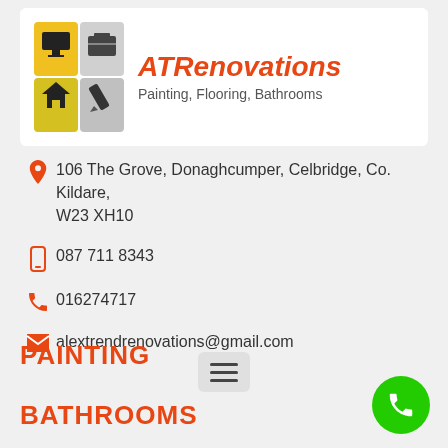[Figure (logo): ATRenovations logo with four-quadrant icon (tools, house, paint icons on yellow/grey background) and company name in orange italic with subtitle 'Painting, Flooring, Bathrooms']
106 The Grove, Donaghcumper, Celbridge, Co. Kildare, W23 XH10
087 711 8343
016274717
alextrendrenovations@gmail.com
PAINTING
[Figure (other): Hamburger menu button (three horizontal lines) in a rounded grey rectangle]
BATHROOMS
[Figure (other): Green circular call/phone FAB button in lower right corner]